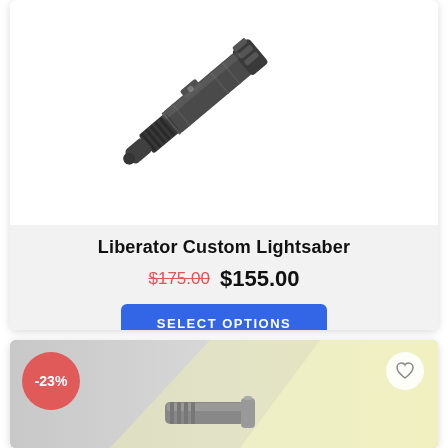[Figure (photo): Dark metallic custom lightsaber hilt photographed diagonally on white background, showing textured grip and cylindrical body]
Liberator Custom Lightsaber
$175.00  $155.00
SELECT OPTIONS
[Figure (photo): Second product card showing a lightsaber with yellow/lime blade glow effect on gray background, with -23% discount badge and heart wishlist icon]